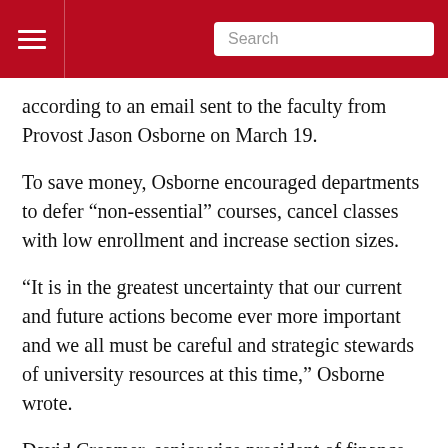Search
according to an email sent to the faculty from Provost Jason Osborne on March 19.
To save money, Osborne encouraged departments to defer “non-essential” courses, cancel classes with low enrollment and increase section sizes.
“It is in the greatest uncertainty that our current and future actions become ever more important and we all must be careful and strategic stewards of university resources at this time,” Osborne wrote.
David Creamer, senior vice president of finance and business services, wrote in an email to The Miami Student that the long-term effect these refunds will have on the university’s finances is still unclear. He